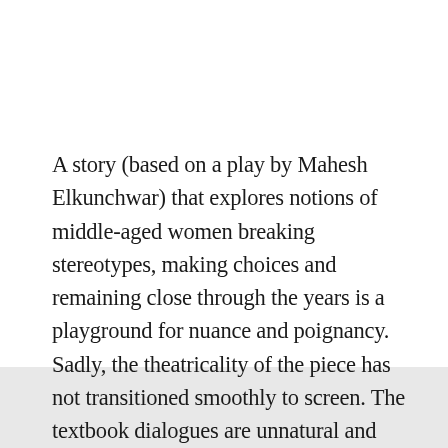A story (based on a play by Mahesh Elkunchwar) that explores notions of middle-aged women breaking stereotypes, making choices and remaining close through the years is a playground for nuance and poignancy. Sadly, the theatricality of the piece has not transitioned smoothly to screen. The textbook dialogues are unnatural and the thoughts that peter off do so quite deliberately. You can almost see the ellipsis typed in at the end of the line.